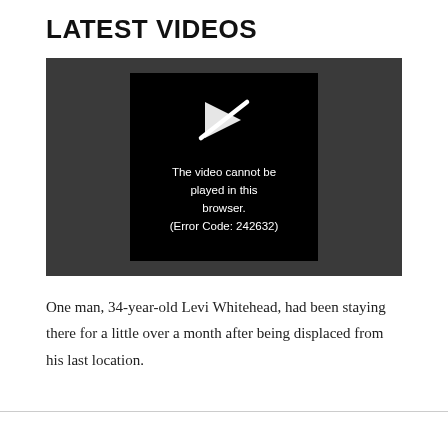LATEST VIDEOS
[Figure (screenshot): Video player showing error message: 'The video cannot be played in this browser. (Error Code: 242632)']
One man, 34-year-old Levi Whitehead, had been staying there for a little over a month after being displaced from his last location.